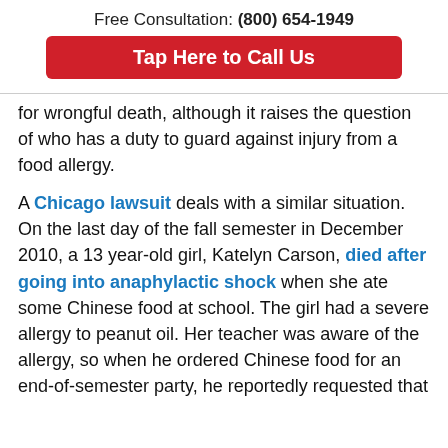Free Consultation: (800) 654-1949
Tap Here to Call Us
for wrongful death, although it raises the question of who has a duty to guard against injury from a food allergy.
A Chicago lawsuit deals with a similar situation. On the last day of the fall semester in December 2010, a 13 year-old girl, Katelyn Carson, died after going into anaphylactic shock when she ate some Chinese food at school. The girl had a severe allergy to peanut oil. Her teacher was aware of the allergy, so when he ordered Chinese food for an end-of-semester party, he reportedly requested that